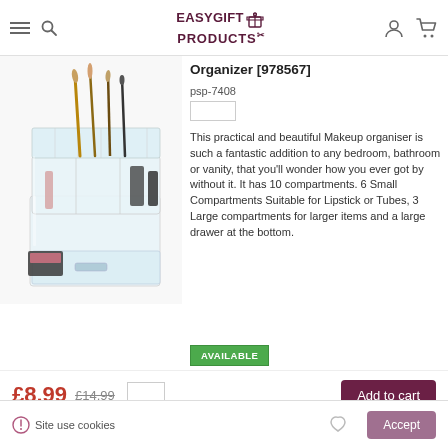EASYGIFT PRODUCTS
Organizer [978567]
psp-7408
This practical and beautiful Makeup organiser is such a fantastic addition to any bedroom, bathroom or vanity, that you'll wonder how you ever got by without it. It has 10 compartments. 6 Small Compartments Suitable for Lipstick or Tubes, 3 Large compartments for larger items and a large drawer at the bottom.
AVAILABLE
£8.99 £14.99
Add to cart
[Figure (photo): Acrylic makeup organizer with multiple compartments filled with makeup brushes, cosmetics, and beauty products]
Site use cookies   Accept